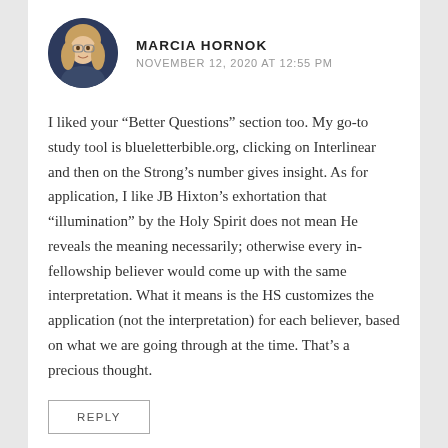[Figure (photo): Circular profile photo of Marcia Hornok, a woman with blonde hair against a dark blue background]
MARCIA HORNOK
NOVEMBER 12, 2020 AT 12:55 PM
I liked your “Better Questions” section too. My go-to study tool is blueletterbible.org, clicking on Interlinear and then on the Strong’s number gives insight. As for application, I like JB Hixton’s exhortation that “illumination” by the Holy Spirit does not mean He reveals the meaning necessarily; otherwise every in-fellowship believer would come up with the same interpretation. What it means is the HS customizes the application (not the interpretation) for each believer, based on what we are going through at the time. That’s a precious thought.
REPLY